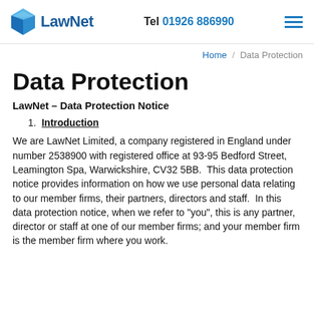LawNet — Tel 01926 886990
Home / Data Protection
Data Protection
LawNet – Data Protection Notice
1. Introduction
We are LawNet Limited, a company registered in England under number 2538900 with registered office at 93-95 Bedford Street, Leamington Spa, Warwickshire, CV32 5BB.  This data protection notice provides information on how we use personal data relating to our member firms, their partners, directors and staff.  In this data protection notice, when we refer to "you", this is any partner, director or staff at one of our member firms; and your member firm is the member firm where you work.